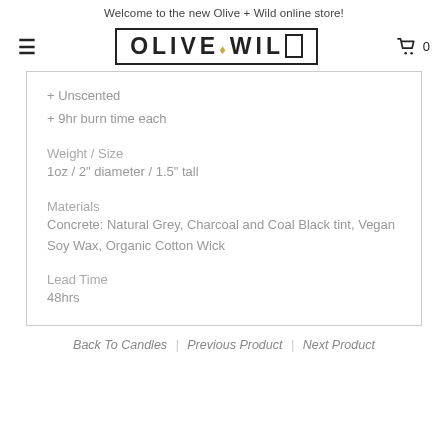Welcome to the new Olive + Wild online store!
OLIVE + WILD
+ Unscented
+ 9hr burn time each
Weight / Size
1oz / 2" diameter / 1.5" tall
Materials
Concrete: Natural Grey, Charcoal and Coal Black tint, Vegan Soy Wax, Organic Cotton Wick
Lead Time
48hrs
Back To Candles | Previous Product | Next Product